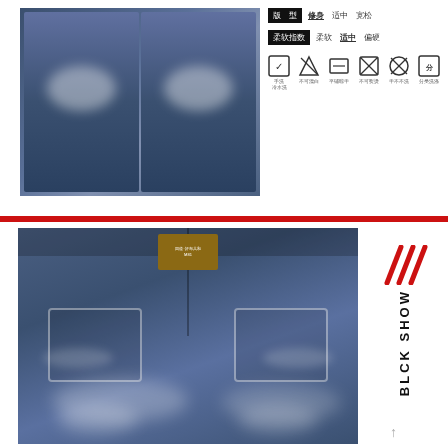[Figure (photo): Two views of distressed blue denim jeans shorts with white fading, shown front/back]
[Figure (infographic): Product info panel showing fit type (修身/适中/宽松) and softness index (柔软/适中/偏硬) with laundry care icons]
[Figure (photo): Back view of blue distressed denim shorts with branded leather patch, back pockets, and rivets]
[Figure (logo): BLCK SHOW brand logo with red diagonal slashes]